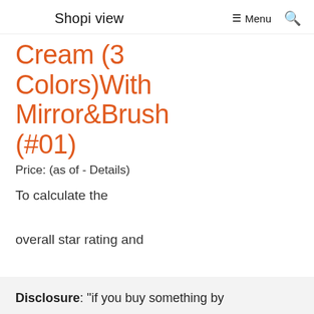Shopi view  ☰ Menu  🔍
Cream (3 Colors)With Mirror&Brush (#01)
Price: (as of - Details)
To calculate the overall star rating and percentage breakdown by star,
July 20, 2022
In "Beauty"
Disclosure: "if you buy something by